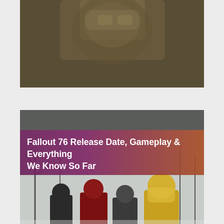[Figure (photo): Partial top image of power armor helmet from a Fallout game, golden/brass metallic look, cropped at top of page]
[Figure (photo): Fallout 76 article card image showing four armored characters in a post-apocalyptic snowy landscape, with title overlay 'Fallout 76 Release Date, Gameplay & Everything We Know So Far' on a purple-to-brown gradient background]
Fallout 76 Release Date, Gameplay & Everything We Know So Far
[Figure (photo): Elder Scrolls 6 article card with dark background and title overlay 'E3 2018: Everything we know about Elder Scrolls 6 So Far' on a dark gradient background]
E3 2018: Everything we know about Elder Scrolls 6 So Far